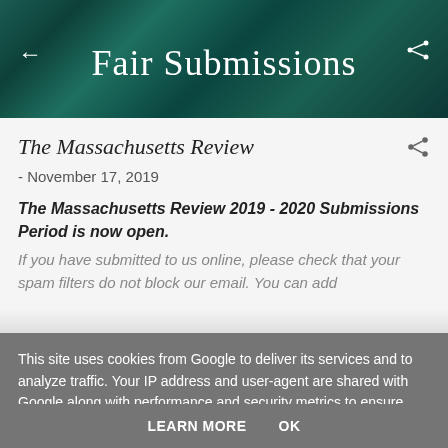Fair Submissions
The Massachusetts Review
- November 17, 2019
The Massachusetts Review 2019 - 2020 Submissions Period is now open.
If you have submitted to us online, please check that your spam filters do not block our email. You can add
This site uses cookies from Google to deliver its services and to analyze traffic. Your IP address and user-agent are shared with Google along with performance and security metrics to ensure quality of service, generate usage statistics, and to detect and address abuse.
LEARN MORE   OK